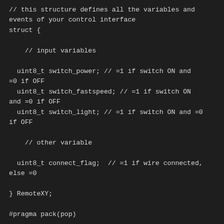// this structure defines all the variables and events of your control interface
struct {

    // input variables

  uint8_t switch_power; // =1 if switch ON and =0 if OFF
  uint8_t switch_fastspeed; // =1 if switch ON and =0 if OFF
  uint8_t switch_light; // =1 if switch ON and =0 if OFF

    // other variable

  uint8_t connect_flag;  // =1 if wire connected, else =0

} RemoteXY;

#pragma pack(pop)

/////////////////////////////////////

//         Scooter Command include         //